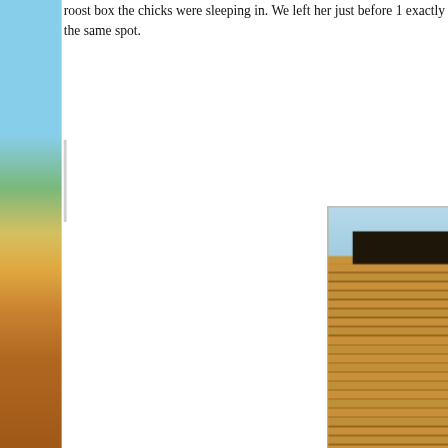roost box the chicks were sleeping in. We left her just before 1 exactly the same spot.
[Figure (photo): Photograph of a wooden structure or building exterior with horizontal timber slats/boards, a dark roof structure visible at the top, photographed against a light blue sky. The wood has warm golden-brown tones. Photo by Liz Corry.]
— Bean warming up after a night out alone. Photo by Liz Corry
Much to my relief she was alive although very sleepy. To be fa night out and stress of yesterday had taken its toll. Luckily all she moved to an external roost box and sat preening in the fu